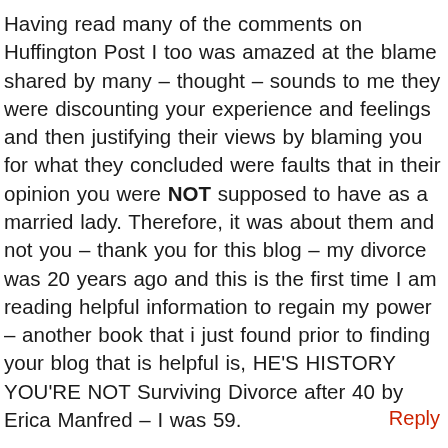Having read many of the comments on Huffington Post I too was amazed at the blame shared by many – thought – sounds to me they were discounting your experience and feelings and then justifying their views by blaming you for what they concluded were faults that in their opinion you were NOT supposed to have as a married lady. Therefore, it was about them and not you – thank you for this blog – my divorce was 20 years ago and this is the first time I am reading helpful information to regain my power – another book that i just found prior to finding your blog that is helpful is, HE'S HISTORY YOU'RE NOT Surviving Divorce after 40 by Erica Manfred – I was 59.
Reply